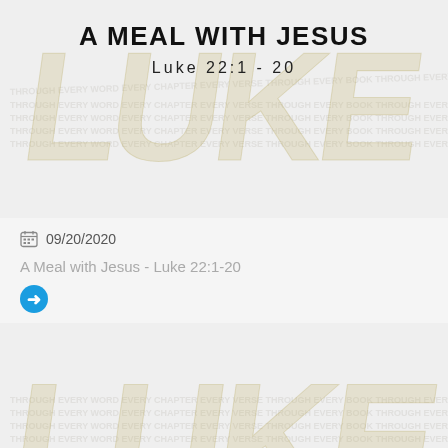[Figure (illustration): Sermon card with watermark 'LUKE' text in gold/olive brush stroke style behind title text]
A MEAL WITH JESUS
Luke 22:1 - 20
09/20/2020
A Meal with Jesus - Luke 22:1-20
[Figure (illustration): Sermon card with watermark 'LUKE' text in gold/olive brush stroke style behind title text]
PREPARING FOR THE END
Luke 21:20 - 38